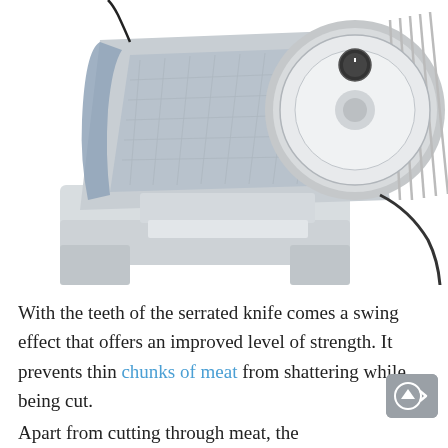[Figure (photo): A gray electric meat slicer / food slicer appliance shown from a front-left angle. It has a large circular serrated blade on the right side, a flat sliding tray, and a boxy light-gray body with a black power cord.]
With the teeth of the serrated knife comes a swing effect that offers an improved level of strength. It prevents thin chunks of meat from shattering while being cut.
Apart from cutting through meat, the